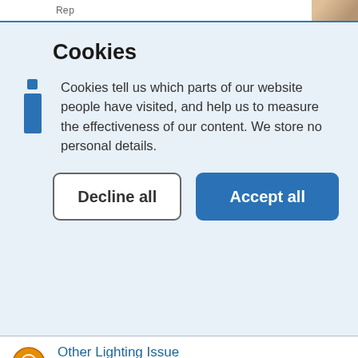Cookies
Cookies tell us which parts of our website people have visited, and help us to measure the effectiveness of our content. We store no personal details.
Decline all
Accept all
Other Lighting Issue
11:10, 31 Mar 2022, last updated 11:10, 31 Mar 2022
Cover is hanging
13:47, 29 Mar 2022, last updated 15:50, 29 Mar 2022